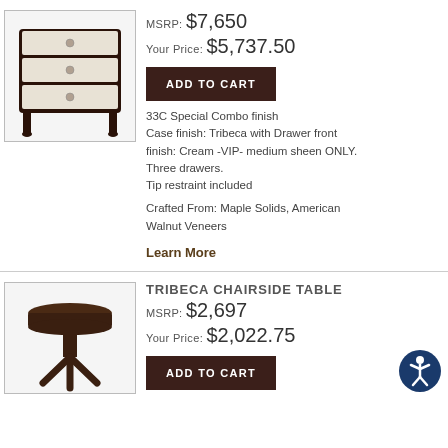[Figure (photo): Three-drawer chest with dark wood legs/frame and cream drawer fronts with small round hardware knobs]
MSRP: $7,650
Your Price: $5,737.50
ADD TO CART
33C Special Combo finish
Case finish: Tribeca with Drawer front finish: Cream -VIP- medium sheen ONLY.
Three drawers.
Tip restraint included
Crafted From: Maple Solids, American Walnut Veneers
Learn More
TRIBECA CHAIRSIDE TABLE
MSRP: $2,697
Your Price: $2,022.75
[Figure (photo): Round dark wood chairside table with three legs visible]
ADD TO CART